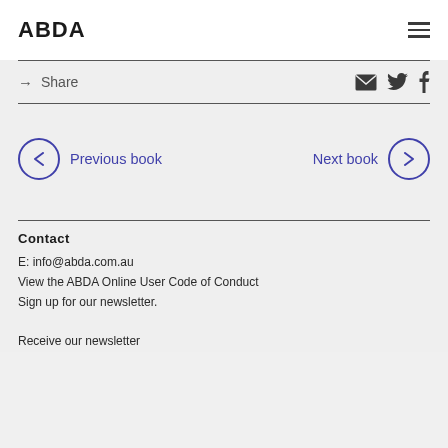ABDA
→  Share
← Previous book      Next book →
Contact
E: info@abda.com.au
View the ABDA Online User Code of Conduct
Sign up for our newsletter.
Receive our newsletter